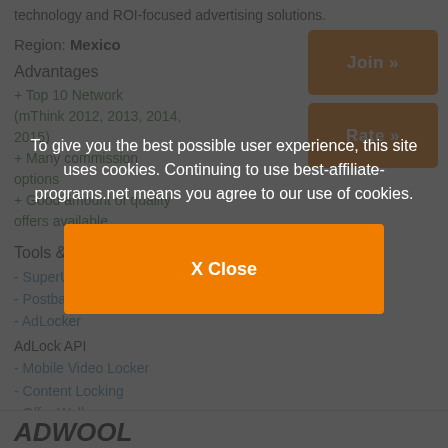technology and ROI-focused advertising solutions.
Region: Mexico
Advantages
+ Top 10 Network (mThink 2012, 2013, 2014, 2015)
+ Many commission options
+ Good amount of quality offers available
Tools & Features
- SuperURL
- Postback
- AdLocker
AdLock API
- Mobile Video Locker
- Content Locking
- Offer Wall
- API
ADWOOL
To give you the best possible user experience, this site uses cookies. Continuing to use best-affiliate-programs.net means you agree to our use of cookies.